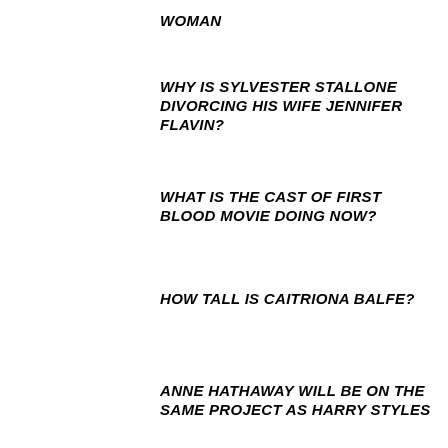WOMAN
WHY IS SYLVESTER STALLONE DIVORCING HIS WIFE JENNIFER FLAVIN?
WHAT IS THE CAST OF FIRST BLOOD MOVIE DOING NOW?
HOW TALL IS CAITRIONA BALFE?
ANNE HATHAWAY WILL BE ON THE SAME PROJECT AS HARRY STYLES